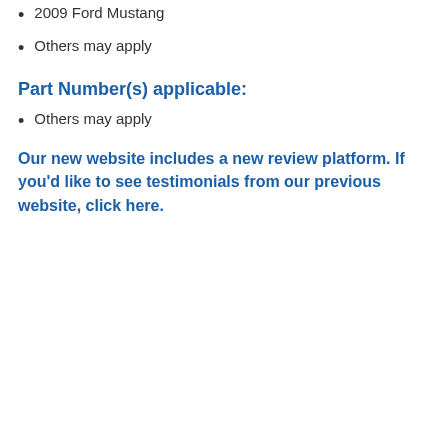2009 Ford Mustang
Others may apply
Part Number(s) applicable:
Others may apply
Our new website includes a new review platform. If you'd like to see testimonials from our previous website, click here.
Share
Back to the top
Privacy · Terms